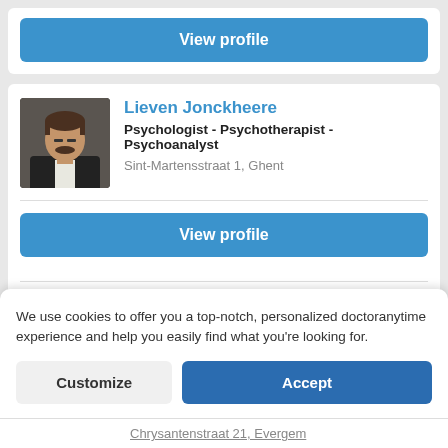[Figure (screenshot): View profile button at top of page (partial card)]
[Figure (screenshot): Profile photo of Lieven Jonckheere]
Lieven Jonckheere
Psychologist - Psychotherapist - Psychoanalyst
Sint-Martensstraat 1, Ghent
[Figure (screenshot): View profile button for Lieven Jonckheere]
Lieven Jonckheere has a doctorate in psychology and is a professor at Ghent University. He is a psychoanalyst (of the New Lacanian School), with many years of experience in private psychoanalytic practic   ...
We use cookies to offer you a top-notch, personalized doctoranytime experience and help you easily find what you're looking for.
Customize
Accept
Chrysantenstraat 21, Evergem